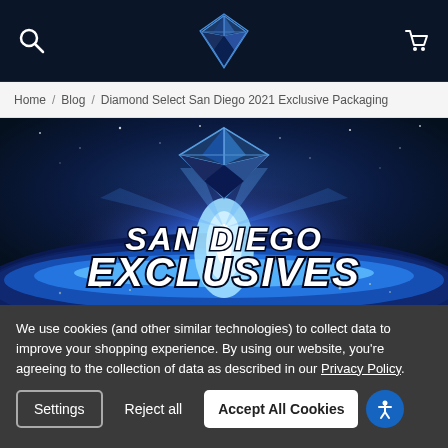[Figure (logo): Diamond Select Toys logo - blue geometric diamond shape in dark navy navigation bar with search icon on left and shopping cart icon on right]
Home / Blog / Diamond Select San Diego 2021 Exclusive Packaging
[Figure (illustration): Hero banner image showing a glowing blue diamond logo above a planet Earth with bright blue light emanating from horizon. Large white bold text reads 'SAN DIEGO EXCLUSIVES']
We use cookies (and other similar technologies) to collect data to improve your shopping experience. By using our website, you're agreeing to the collection of data as described in our Privacy Policy.